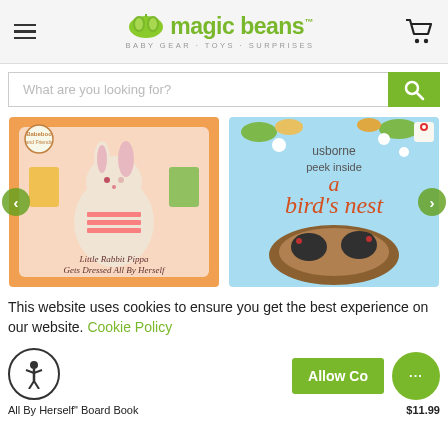magic beans - BABY GEAR · TOYS · SURPRISES
What are you looking for?
[Figure (photo): Book cover: Little Rabbit Pippa Gets Dressed All By Herself Board Book]
[Figure (photo): Book cover: Usborne Peek Inside a Bird's Nest]
This website uses cookies to ensure you get the best experience on our website. Cookie Policy
Allow Co...
All By Herself" Board Book
$11.99